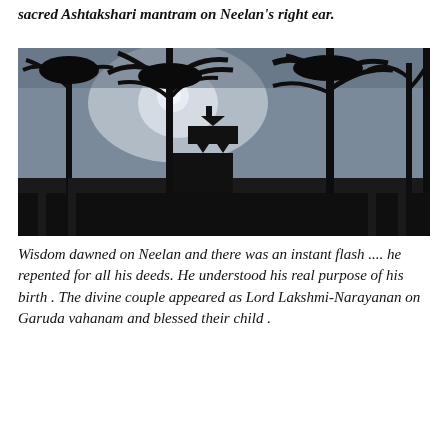sacred Ashtakshari mantram on Neelan's right ear.
[Figure (photo): Outdoor photograph taken at dusk or dawn showing silhouettes of tall coconut palm trees against a light grey sky with a bright sun partially visible. In the background, the silhouette of a temple with ornate towers (gopuram) is visible. The overall image is very dark with high contrast between the dark foreground and lighter sky.]
Wisdom dawned on Neelan and there was an instant flash .... he repented for all his deeds. He understood his real purpose of his birth . The divine couple appeared as Lord Lakshmi-Narayanan on Garuda vahanam and blessed their child .